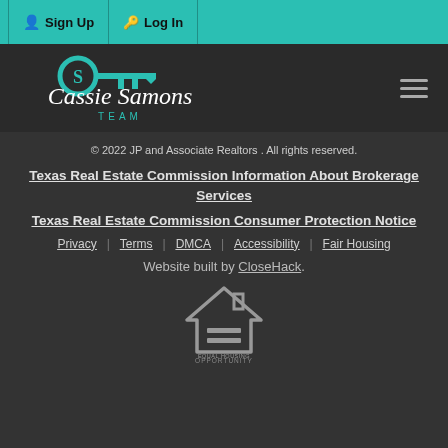Sign Up  Log In
[Figure (logo): Cassie Samons Team logo with teal key graphic and script text on dark background]
© 2022 JP and Associate Realtors . All rights reserved.
Texas Real Estate Commission Information About Brokerage Services
Texas Real Estate Commission Consumer Protection Notice
Privacy   Terms   DMCA   Accessibility   Fair Housing
Website built by CloseHack.
[Figure (logo): Equal Housing Opportunity logo - house outline with equal sign]